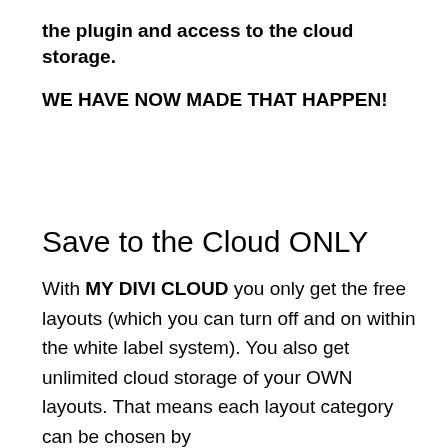the plugin and access to the cloud storage.
WE HAVE NOW MADE THAT HAPPEN!
Save to the Cloud ONLY
With MY DIVI CLOUD you only get the free layouts (which you can turn off and on within the white label system). You also get unlimited cloud storage of your OWN layouts. That means each layout category can be chosen by